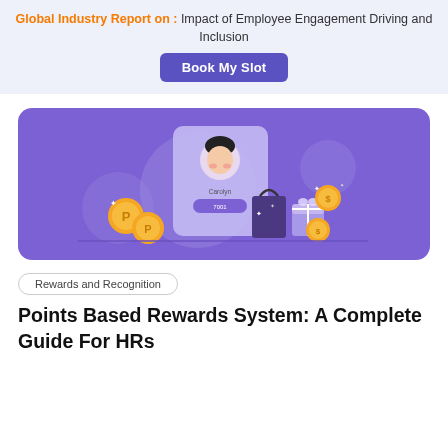Global Industry Report on : Impact of Employee Engagement Driving and Inclusion
[Figure (illustration): Purple banner with a 'Book My Slot' button in indigo/violet color]
[Figure (illustration): Purple card illustration showing a user profile card for 'Carolyn' with points, golden reward coins with P symbol, a purple shopping bag, a gift box, and golden dollar coins with sparkles]
Rewards and Recognition
Points Based Rewards System: A Complete Guide For HRs